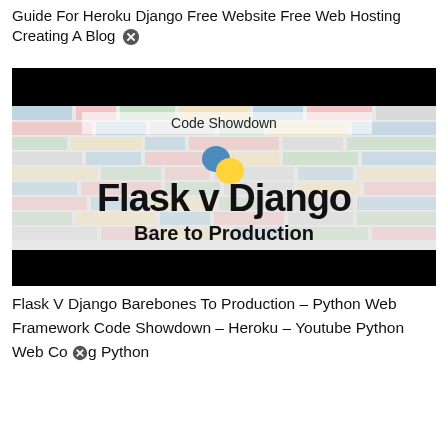Guide For Heroku Django Free Website Free Web Hosting Creating A Blog ✕
[Figure (screenshot): Thumbnail image for 'Flask v Django Bare to Production – Code Showdown' video, showing a colorful brick-pattern background with a Python logo and bold text 'Flask v Django' and 'Bare to Production', with black bars at top and bottom.]
Flask V Django Barebones To Production – Python Web Framework Code Showdown – Heroku – Youtube Python Web Coding Python